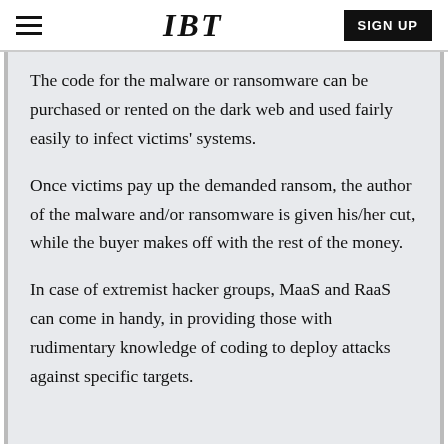IBT | SIGN UP
The code for the malware or ransomware can be purchased or rented on the dark web and used fairly easily to infect victims' systems.
Once victims pay up the demanded ransom, the author of the malware and/or ransomware is given his/her cut, while the buyer makes off with the rest of the money.
In case of extremist hacker groups, MaaS and RaaS can come in handy, in providing those with rudimentary knowledge of coding to deploy attacks against specific targets.